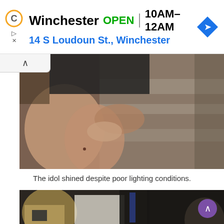[Figure (screenshot): Ad banner showing Winchester business listing: OPEN 10AM-12AM, 14 S Loudoun St., Winchester, with a navigation arrow icon]
[Figure (photo): Close-up photo of a person's legs in dark shorts/skirt and stockings, seated on what appears to be a stone surface in low lighting]
The idol shined despite poor lighting conditions.
[Figure (photo): Photo of a group of people at what appears to be an event or gathering, dimly lit, individuals holding cameras and phones]